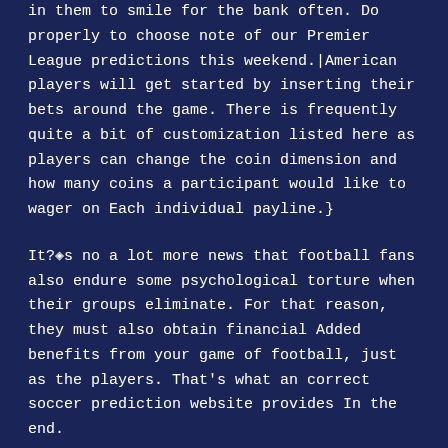in them to smile for the bank often. Do properly to choose note of our Premier League predictions this weekend.|American players will get started by inserting their bets around the game. There is frequently quite a bit of customization listed here as players can change the coin dimension and how many coins a participant would like to wager on Each individual payline.}
It?�s no a lot more news that football fans also endure some psychological torture when their groups eliminate. For that reason, they must also obtain financial Added benefits from your game of football, just as the players. That's what an correct soccer prediction website provides In the end.
's lightning dodging minigame and blitzball minigame